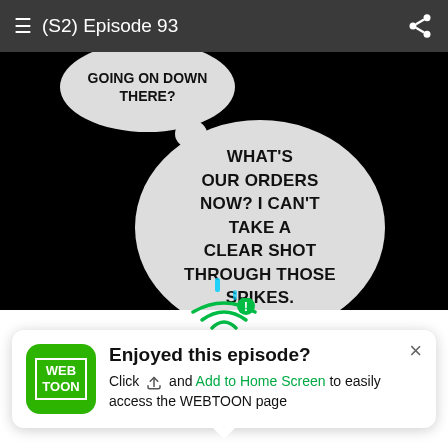(S2) Episode 93
[Figure (screenshot): Comic panel with black background showing two speech bubbles. Top-left bubble says 'GOING ON DOWN THERE?' and the main larger bubble says 'WHAT'S OUR ORDERS NOW? I CAN'T TAKE A CLEAR SHOT THROUGH THOSE SPIKES.']
Enjoyed this episode?
Click and Add to Home Screen to easily access the WEBTOON page